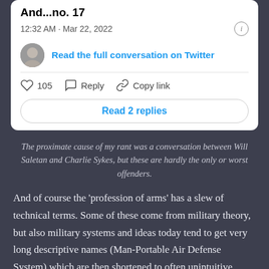[Figure (screenshot): Twitter/social media embed card showing tweet metadata: 'And...no. 17', timestamp '12:32 AM · Mar 22, 2022', info icon, avatar image, 'Read the full conversation on Twitter' link, like count 105, Reply button, Copy link button, and 'Read 2 replies' button.]
The proximate cause of my rant was a conversation between Will Saletan and Charlie Sykes, but these are hardly the only or worst offenders.
And of course the 'profession of arms' has a slew of technical terms. Some of these come from military theory, but also military systems and ideas today tend to get very long descriptive names (Man-Portable Air Defense System) which are then shortened to often unintuitive acronyms (MANPAD). I'm going to focus